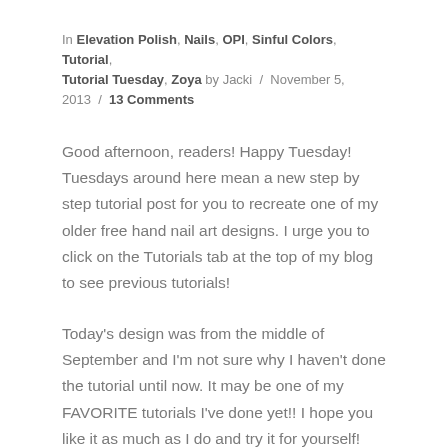In Elevation Polish, Nails, OPI, Sinful Colors, Tutorial, Tutorial Tuesday, Zoya by Jacki / November 5, 2013 / 13 Comments
Good afternoon, readers! Happy Tuesday! Tuesdays around here mean a new step by step tutorial post for you to recreate one of my older free hand nail art designs. I urge you to click on the Tutorials tab at the top of my blog to see previous tutorials!
Today's design was from the middle of September and I'm not sure why I haven't done the tutorial until now. It may be one of my FAVORITE tutorials I've done yet!! I hope you like it as much as I do and try it for yourself! The easiest thing I find about nail art is that I break